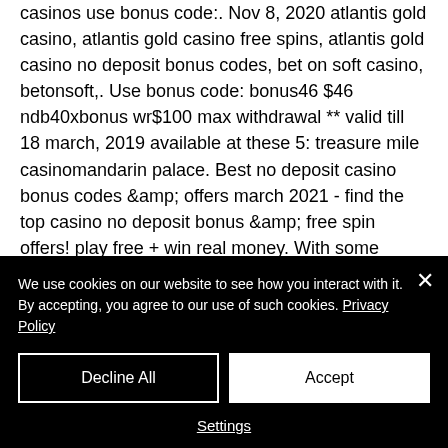casinos use bonus code:. Nov 8, 2020 atlantis gold casino, atlantis gold casino free spins, atlantis gold casino no deposit bonus codes, bet on soft casino, betonsoft,. Use bonus code: bonus46 $46 ndb40xbonus wr$100 max withdrawal ** valid till 18 march, 2019 available at these 5: treasure mile casinomandarin palace. Best no deposit casino bonus codes &amp; offers march 2021 - find the top casino no deposit bonus &amp; free spin offers! play free + win real money. With some prominent examples including
We use cookies on our website to see how you interact with it. By accepting, you agree to our use of such cookies. Privacy Policy
Decline All
Accept
Settings